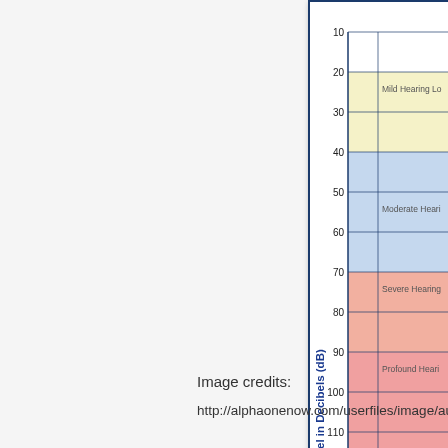[Figure (other): Partial audiogram showing hearing level in decibels (dB) on the y-axis (0-120 dB) with colored bands indicating hearing loss categories: Mild Hearing Loss (light yellow, ~20-40 dB), Moderate Hearing Loss (light blue, ~40-70 dB), Severe Hearing Loss (salmon/light red, ~70-90 dB), Profound Hearing Loss (pink/red, ~90-120 dB). The x-axis starts at 125 Hz. Only the left portion of the chart is visible.]
Image credits:
http://alphaonenow.com/userfiles/image/aud_audio